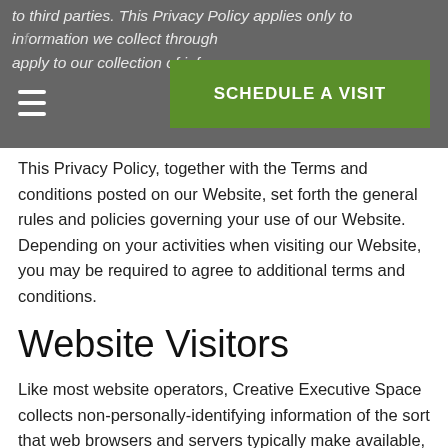to third parties. This Privacy Policy applies only to information we collect through apply to our collection of infor...
This Privacy Policy, together with the Terms and conditions posted on our Website, set forth the general rules and policies governing your use of our Website. Depending on your activities when visiting our Website, you may be required to agree to additional terms and conditions.
Website Visitors
Like most website operators, Creative Executive Space collects non-personally-identifying information of the sort that web browsers and servers typically make available, such as the browser type, language preference, referring site, and the date and time of each visitor request. Creative Executive Space's purpose in collecting non-personally identifying information is to better understand how Creative Executive Space's visitors use its website. From time to